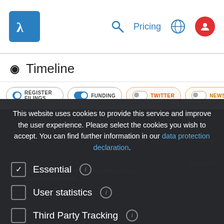Timeline — Pricing navigation
Timeline
REGISTER FILINGS (toggle on)
FUNDING (toggle on)
TWITTER (toggle off)
NEWS (toggle off)
This website uses cookies to provide this service and improve the user experience. Please select the cookies you wish to accept. You can find further information in our data protection declaration.
Essential (checked)
User statistics (unchecked)
Third Party Tracking (unchecked)